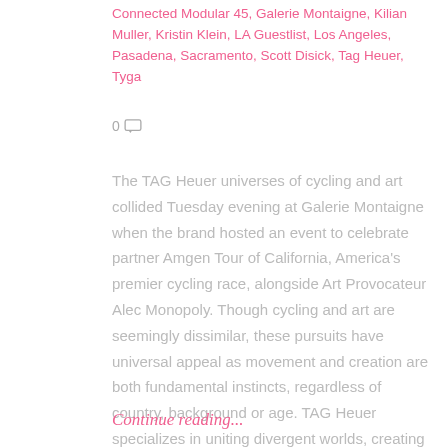Connected Modular 45, Galerie Montaigne, Kilian Muller, Kristin Klein, LA Guestlist, Los Angeles, Pasadena, Sacramento, Scott Disick, Tag Heuer, Tyga
0
The TAG Heuer universes of cycling and art collided Tuesday evening at Galerie Montaigne when the brand hosted an event to celebrate partner Amgen Tour of California, America's premier cycling race, alongside Art Provocateur Alec Monopoly. Though cycling and art are seemingly dissimilar, these pursuits have universal appeal as movement and creation are both fundamental instincts, regardless of country, background or age. TAG Heuer specializes in uniting divergent worlds, creating
Continue reading...